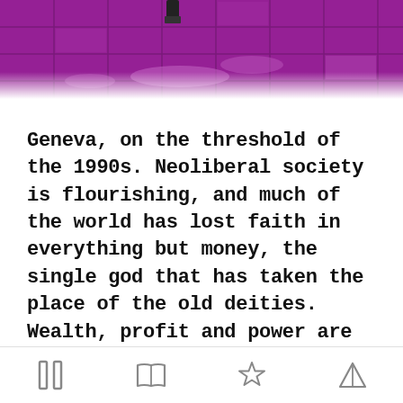[Figure (photo): Purple/magenta tiled wall with peeling paint, photographed from below. The tiles appear to be reflective, with some tiles showing damage or peeling. A dark metallic object is visible at the top.]
Geneva, on the threshold of the 1990s. Neoliberal society is flourishing, and much of the world has lost faith in everything but money, the single god that has taken the place of the old deities. Wealth, profit and power are the key components of an infernal machine in the shape of a novel, a machine running at full throttle. And only love, as essential as it is beyond reach, can attain the sublime, or destroy everything.
[Figure (other): Bottom navigation bar with four icons: pause/bars icon, open book icon, star/badge icon, and tent/triangle icon.]